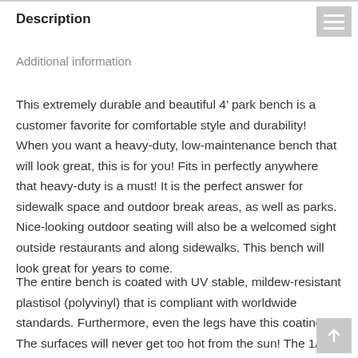Description
Additional information
This extremely durable and beautiful 4’ park bench is a customer favorite for comfortable style and durability! When you want a heavy-duty, low-maintenance bench that will look great, this is for you! Fits in perfectly anywhere that heavy-duty is a must! It is the perfect answer for sidewalk space and outdoor break areas, as well as parks. Nice-looking outdoor seating will also be a welcomed sight outside restaurants and along sidewalks. This bench will look great for years to come.
The entire bench is coated with UV stable, mildew-resistant plastisol (polyvinyl) that is compliant with worldwide standards. Furthermore, even the legs have this coating! The surfaces will never get too hot from the sun! The 1/8+ inch